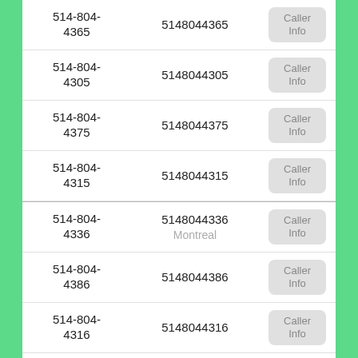| Formatted Number | Numeric | Action |
| --- | --- | --- |
| 514-804-4365 | 5148044365 | Caller Info |
| 514-804-4305 | 5148044305 | Caller Info |
| 514-804-4375 | 5148044375 | Caller Info |
| 514-804-4315 | 5148044315 | Caller Info |
| 514-804-4336 | 5148044336 Montreal | Caller Info |
| 514-804-4386 | 5148044386 | Caller Info |
| 514-804-4316 | 5148044316 | Caller Info |
| 514-804-4396 | 5148044396 | Caller Info |